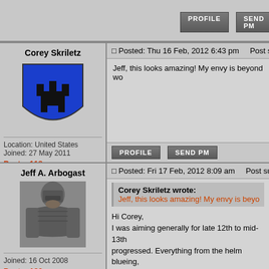[Figure (screenshot): Forum page showing two user posts with profile info and avatars]
PROFILE  SEND PM (buttons at top)
Corey Skriletz
[Figure (illustration): Blue heraldic shield with black castle/tower emblem]
Location: United States
Joined: 27 May 2011
Posts: 118
Posted: Thu 16 Feb, 2012 6:43 pm    Post subject:
Jeff, this looks amazing! My envy is beyond wo...
PROFILE  SEND PM
Jeff A. Arbogast
[Figure (photo): Photo of a man in medieval armor/helmet]
Joined: 16 Oct 2008
Posts: 180
Posted: Fri 17 Feb, 2012 8:09 am    Post subject:
Corey Skriletz wrote:
Jeff, this looks amazing! My envy is beyon...
Hi Corey,
I was aiming generally for late 12th to mid-13th... progressed. Everything from the helm blueing... examples that he used tacked on the wall. I wa... wear. Greg made all the final decisions on wha... complete confidence in his expertise. In fact...